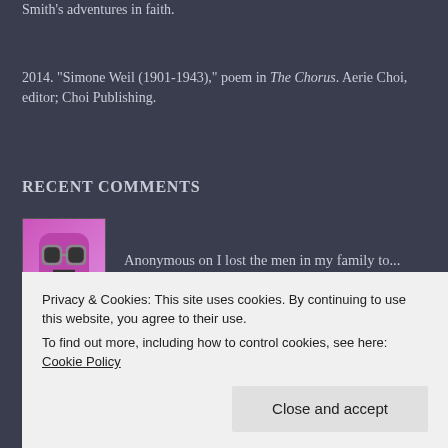Smith's adventures in faith.
2014. “Simone Weil (1901-1943),” poem in The Chorus. Aerie Choi, editor; Choi Publishing.
RECENT COMMENTS
Anonymous on I lost the men in my family to...
Codwick on I lost the men in my family to...
Vicki on On Skyrim: A Vent from a Chris...
Privacy & Cookies: This site uses cookies. By continuing to use this website, you agree to their use.
To find out more, including how to control cookies, see here: Cookie Policy
Close and accept